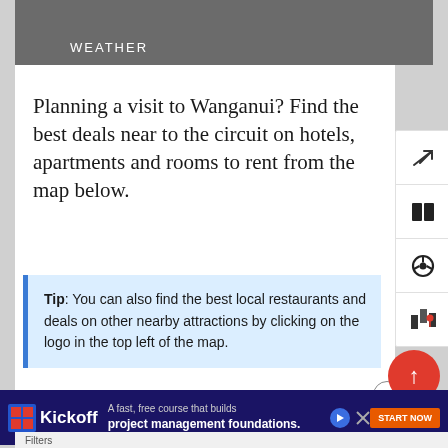WEATHER
Planning a visit to Wanganui? Find the best deals near to the circuit on hotels, apartments and rooms to rent from the map below.
Tip: You can also find the best local restaurants and deals on other nearby attractions by clicking on the logo in the top left of the map.
[Figure (screenshot): Advertisement banner for Kickoff: A fast, free course that builds project management foundations. START NOW button.]